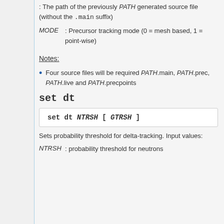: The path of the previously PATH generated source file (without the .main suffix)
MODE : Precursor tracking mode (0 = mesh based, 1 = point-wise)
Notes:
Four source files will be required PATH.main, PATH.prec, PATH.live and PATH.precpoints
set dt
set dt NTRSH [ GTRSH ]
Sets probability threshold for delta-tracking. Input values:
NTRSH : probability threshold for neutrons